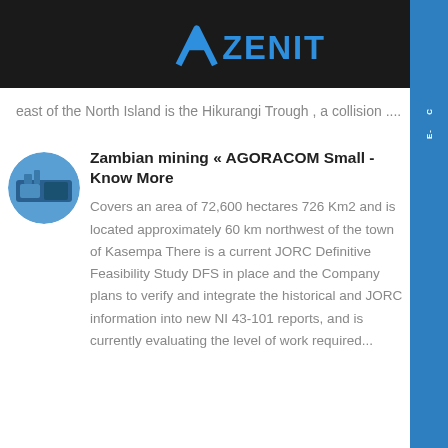ZENIT
east of the North Island is the Hikurangi Trough , a collision ....
Zambian mining « AGORACOM Small - Know More
Covers an area of 72,600 hectares 726 Km2 and is located approximately 60 km northwest of the town of Kasempa There is a current JORC Definitive Feasibility Study DFS in place and the Company plans to verify and integrate the historical and JORC information into new NI 43-101 reports, and is currently evaluating the level of work required...
Mineralienatlas Lexikon - Know More